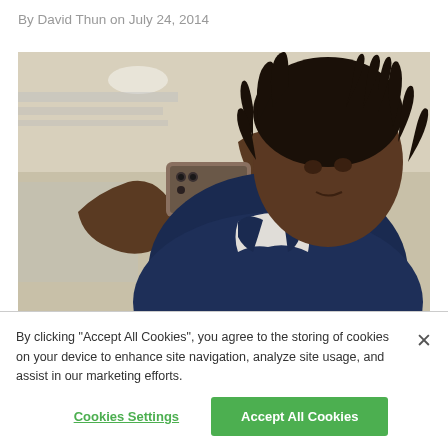By David Thun on July 24, 2014
[Figure (photo): A Black woman in a navy blazer holding up a smartphone horizontally in both hands, apparently taking a photo. Background is a blurred indoor/outdoor setting with warm lighting.]
By clicking "Accept All Cookies", you agree to the storing of cookies on your device to enhance site navigation, analyze site usage, and assist in our marketing efforts.
Cookies Settings
Accept All Cookies